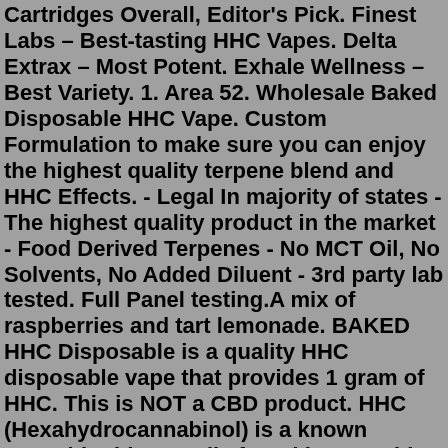Cartridges Overall, Editor's Pick. Finest Labs – Best-tasting HHC Vapes. Delta Extrax – Most Potent. Exhale Wellness – Best Variety. 1. Area 52. Wholesale Baked Disposable HHC Vape. Custom Formulation to make sure you can enjoy the highest quality terpene blend and HHC Effects. - Legal In majority of states - The highest quality product in the market - Food Derived Terpenes - No MCT Oil, No Solvents, No Added Diluent - 3rd party lab tested. Full Panel testing.A mix of raspberries and tart lemonade. BAKED HHC Disposable is a quality HHC disposable vape that provides 1 gram of HHC. This is NOT a CBD product. HHC (Hexahydrocannabinol) is a known cannabinoid naturally found in cannabis pollen. HHC produces a similar sensation to Delta-8, but it is not THC, and this is what makes it special. Northern Lights Delta 8 Hemp Flower. 47 reviews. $39.95 — or subscribe and save 25% Add to Cart.Sour Diesel - HHC Vape Disposable. 52 reviews. $35.99. $39.99. Add to Cart. Product Description. ABOUT HHC VAPES. INGREDIENT LIST: SUGGESTED